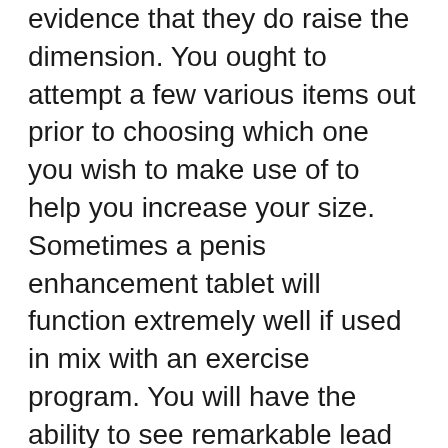evidence that they do raise the dimension. You ought to attempt a few various items out prior to choosing which one you wish to make use of to help you increase your size. Sometimes a penis enhancement tablet will function extremely well if used in mix with an exercise program. You will have the ability to see remarkable lead to a short amount of time. | Penis Pumps is gadgets that utilize vacuum cleaner stress to draw additional blood into the penis for far better lengthy lasting erections. Many researches have actually demonstrated that these pumps are effective in giving guys erections capable of even excellent sex. Nonetheless, there are potential adverse effects to using penis pumps, such as penis damages. The adverse